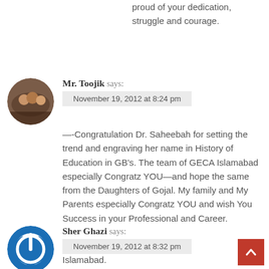proud of your dedication, struggle and courage.
Mr. Toojik says:
November 19, 2012 at 8:24 pm
[Figure (photo): Circular avatar photo showing a group of people]
—-Congratulation Dr. Saheebah for setting the trend and engraving her name in History of Education in GB's. The team of GECA Islamabad especially Congratz YOU—and hope the same from the Daughters of Gojal. My family and My Parents especially Congratz YOU and wish You Success in your Professional and Career.

Engineer Baig Ali & Family
Islamabad.
Sher Ghazi says:
November 19, 2012 at 8:32 pm
[Figure (logo): Circular blue power button icon avatar]